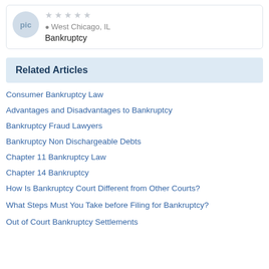[Figure (other): Attorney profile card showing avatar with initials, 1-star rating (empty stars), location West Chicago IL, and practice area Bankruptcy]
Related Articles
Consumer Bankruptcy Law
Advantages and Disadvantages to Bankruptcy
Bankruptcy Fraud Lawyers
Bankruptcy Non Dischargeable Debts
Chapter 11 Bankruptcy Law
Chapter 14 Bankruptcy
How Is Bankruptcy Court Different from Other Courts?
What Steps Must You Take before Filing for Bankruptcy?
Out of Court Bankruptcy Settlements